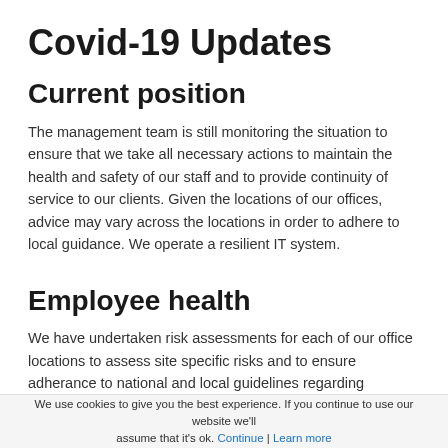Covid-19 Updates
Current position
The management team is still monitoring the situation to ensure that we take all necessary actions to maintain the health and safety of our staff and to provide continuity of service to our clients. Given the locations of our offices, advice may vary across the locations in order to adhere to local guidance. We operate a resilient IT system.
Employee health
We have undertaken risk assessments for each of our office locations to assess site specific risks and to ensure adherance to national and local guidelines regarding
We use cookies to give you the best experience. If you continue to use our website we'll assume that it's ok. Continue | Learn more